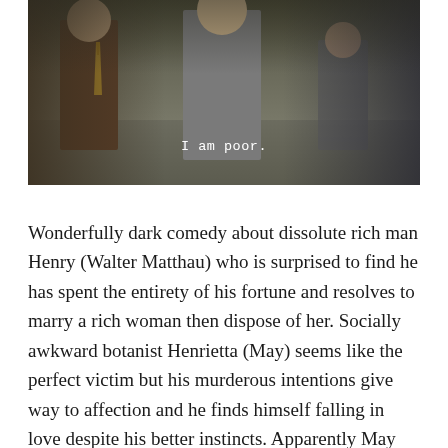[Figure (photo): A film still showing men in suits walking, with a subtitle overlay reading 'I am poor.' The scene appears to be from a dark comedy film, with figures in 1960s-style clothing.]
Wonderfully dark comedy about dissolute rich man Henry (Walter Matthau) who is surprised to find he has spent the entirety of his fortune and resolves to marry a rich woman then dispose of her. Socially awkward botanist Henrietta (May) seems like the perfect victim but his murderous intentions give way to affection and he finds himself falling in love despite his better instincts. Apparently May fell out with the producers over the final cut and the version released does not match her intended vision which was much darker and went after her targets of